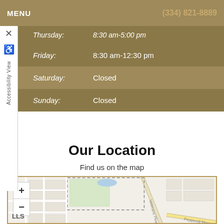MENU  (334) 821-8889
| Day | Hours |
| --- | --- |
| Thursday: | 8:30 am-5:00 pm |
| Friday: | 8:30 am-12:30 pm |
| Saturday: | Closed |
| Sunday: | Closed |
Our Location
Find us on the map
[Figure (map): Street map showing Veterans Pkwy and Pepperell Pkwy intersection area with zoom controls (+/-) and LLS label]